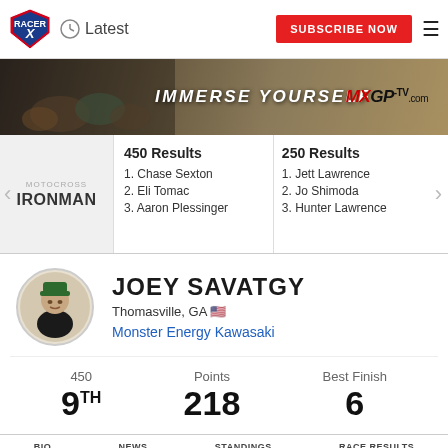Racer X | Latest | SUBSCRIBE NOW
[Figure (photo): MXGP-TV.com banner ad with motocross riders and text IMMERSE YOURSELF]
MOTOCROSS IRONMAN
450 Results
1. Chase Sexton
2. Eli Tomac
3. Aaron Plessinger
250 Results
1. Jett Lawrence
2. Jo Shimoda
3. Hunter Lawrence
[Figure (photo): Circular profile photo of Joey Savatgy wearing a green Monster Energy hat]
JOEY SAVATGY
Thomasville, GA 🇺🇸
Monster Energy Kawasaki
450
9TH
Points
218
Best Finish
6
BIO  NEWS  STANDINGS  RACE RESULTS